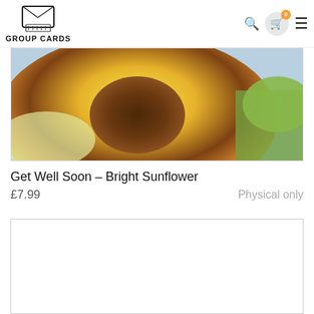GROUP CARDS
[Figure (photo): Watercolor painting of a bright yellow and orange sunflower with green leaves, close-up view]
Get Well Soon - Bright Sunflower
£7.99   Physical only
[Figure (other): White empty card placeholder area]